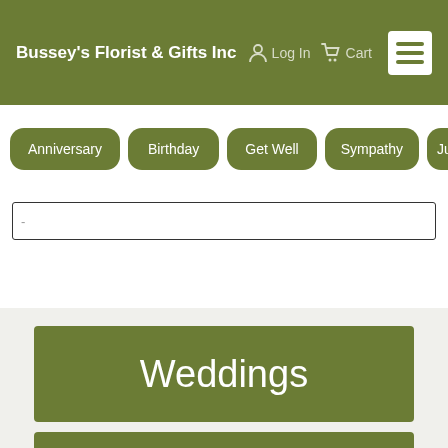Bussey's Florist & Gifts Inc
Anniversary
Birthday
Get Well
Sympathy
Ju
[Figure (screenshot): Search input box]
Weddings